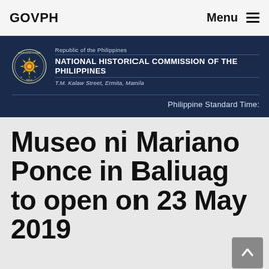GOVPH
[Figure (logo): National Historical Commission of the Philippines logo with seal and text: Republic of the Philippines, NATIONAL HISTORICAL COMMISSION OF THE PHILIPPINES, T.M. Kalaw Street, Ermita, Manila]
Philippine Standard Time:
Museo ni Mariano Ponce in Baliuag to open on 23 May 2019
Posted on May 9, 2019